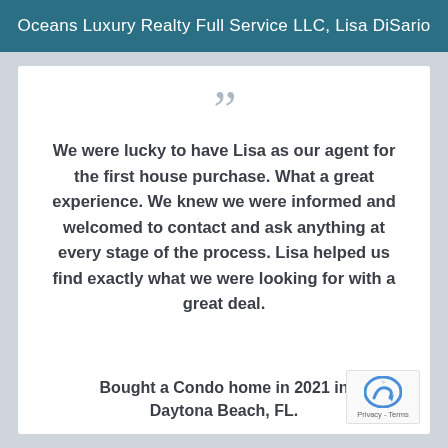Oceans Luxury Realty Full Service LLC, Lisa DiSario
“”
We were lucky to have Lisa as our agent for the first house purchase. What a great experience. We knew we were informed and welcomed to contact and ask anything at every stage of the process. Lisa helped us find exactly what we were looking for with a great deal.
Bought a Condo home in 2021 in Daytona Beach, FL.